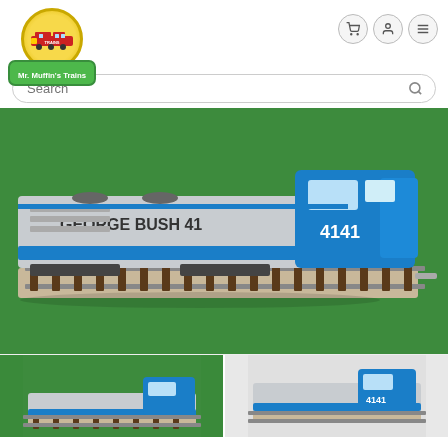[Figure (logo): Mr. Muffin's Trains logo with circular train graphic on yellow background and green banner with white text]
[Figure (photo): Model train locomotive labeled 'GEORGE BUSH 41' and '4141', blue and silver/grey, on a model train track with green base]
[Figure (photo): Two smaller photos of similar blue and silver model train locomotives at bottom of page]